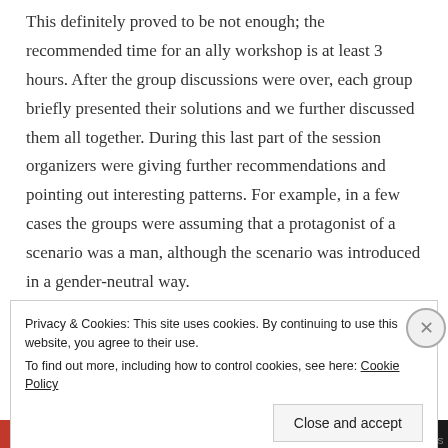This definitely proved to be not enough; the recommended time for an ally workshop is at least 3 hours. After the group discussions were over, each group briefly presented their solutions and we further discussed them all together. During this last part of the session organizers were giving further recommendations and pointing out interesting patterns. For example, in a few cases the groups were assuming that a protagonist of a scenario was a man, although the scenario was introduced in a gender-neutral way.
Privacy & Cookies: This site uses cookies. By continuing to use this website, you agree to their use.
To find out more, including how to control cookies, see here: Cookie Policy
Close and accept